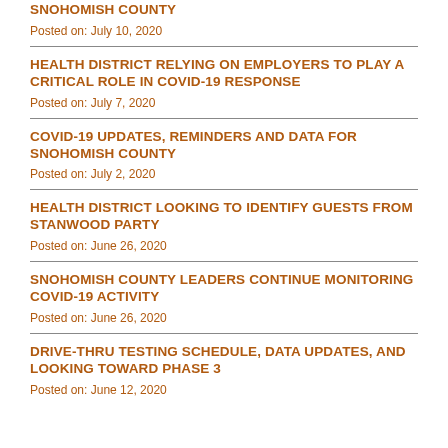SNOHOMISH COUNTY
Posted on: July 10, 2020
HEALTH DISTRICT RELYING ON EMPLOYERS TO PLAY A CRITICAL ROLE IN COVID-19 RESPONSE
Posted on: July 7, 2020
COVID-19 UPDATES, REMINDERS AND DATA FOR SNOHOMISH COUNTY
Posted on: July 2, 2020
HEALTH DISTRICT LOOKING TO IDENTIFY GUESTS FROM STANWOOD PARTY
Posted on: June 26, 2020
SNOHOMISH COUNTY LEADERS CONTINUE MONITORING COVID-19 ACTIVITY
Posted on: June 26, 2020
DRIVE-THRU TESTING SCHEDULE, DATA UPDATES, AND LOOKING TOWARD PHASE 3
Posted on: June 12, 2020